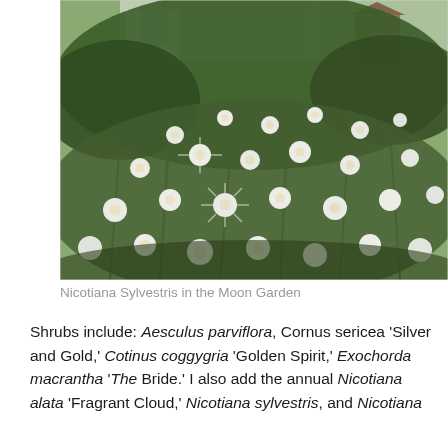[Figure (photo): Photograph of Nicotiana Sylvestris flowering plants with white star-shaped blooms growing densely in a garden, with trees and a building visible in the background.]
Nicotiana Sylvestris in the Moon Garden
Shrubs include: Aesculus parviflora, Cornus sericea 'Silver and Gold,' Cotinus coggygria 'Golden Spirit,' Exochorda macrantha 'The Bride.' I also add the annual Nicotiana alata 'Fragrant Cloud,' Nicotiana sylvestris, and Nicotiana tabacum. The Nicotiana (tobacco plant) are the